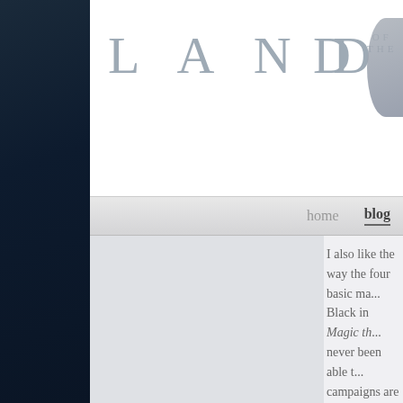LAND OF THE
home  blog
I also like the way the four basic ma... Black in Magic th... never been able t... campaigns are de... exploration and si... endless side-ques... campaign. This al... many opponents y... times. The stories...
(The main view d... complete ques...
Lastly, this game ... So if you like, M...